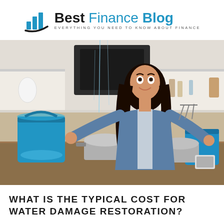Best Finance Blog — EVERYTHING YOU NEED TO KNOW ABOUT FINANCE
[Figure (photo): A distressed woman in a kitchen with water leaking from the ceiling, holding a large blue bucket to catch the water, with pots on the counter also catching drips.]
WHAT IS THE TYPICAL COST FOR WATER DAMAGE RESTORATION?